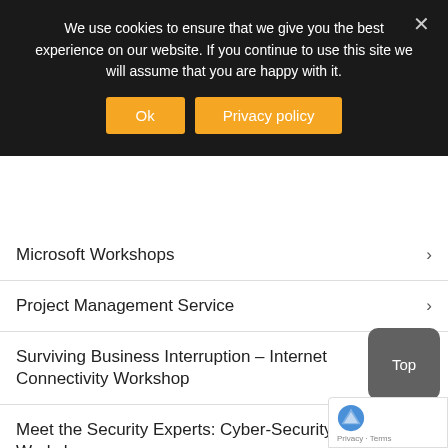We use cookies to ensure that we give you the best experience on our website. If you continue to use this site we will assume that you are happy with it.
Microsoft Workshops
Project Management Service
Surviving Business Interruption – Internet Connectivity Workshop
Meet the Security Experts: Cyber-Security Workshops
Microsoft Voice Add-Ons Promotion
CATEGORIES